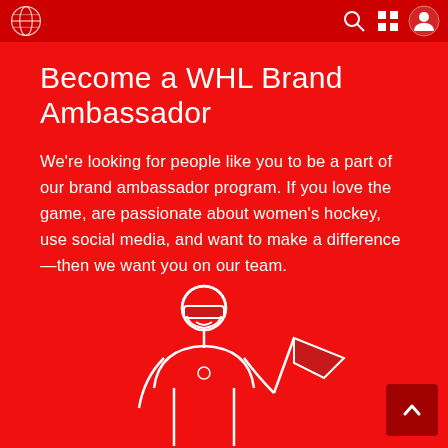WHL navigation bar with logo and icons
Become a WHL Brand Ambassador
We're looking for people like you to be a part of our brand ambassador program. If you love the game, are passionate about women's hockey, use social media, and want to make a difference—then we want you on our team.
[Figure (illustration): Line illustration of a person wearing a hockey helmet/visor holding a pennant flag, drawn in white on red background]
[Figure (other): Back to top button with upward chevron arrow]